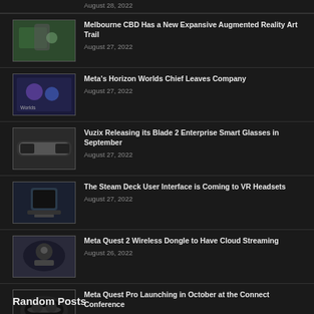August 28, 2022
Melbourne CBD Has a New Expansive Augmented Reality Art Trail
August 27, 2022
Meta's Horizon Worlds Chief Leaves Company
August 27, 2022
Vuzix Releasing its Blade 2 Enterprise Smart Glasses in September
August 27, 2022
The Steam Deck User Interface is Coming to VR Headsets
August 27, 2022
Meta Quest 2 Wireless Dongle to Have Cloud Streaming
August 26, 2022
Meta Quest Pro Launching in October at the Connect Conference
August 26, 2022
Random Posts